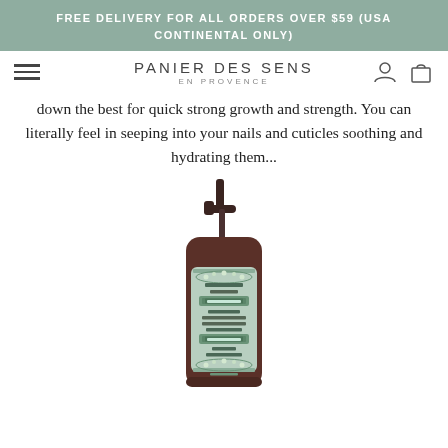FREE DELIVERY FOR ALL ORDERS OVER $59 (USA CONTINENTAL ONLY)
PANIER DES SENS EN PROVENCE
down the best for quick strong growth and strength. You can literally feel in seeping into your nails and cuticles soothing and hydrating them...
[Figure (photo): Pump bottle of Panier des Sens Absolute Floral Body Lotion with green label featuring floral design, dark brown bottle with pump dispenser]